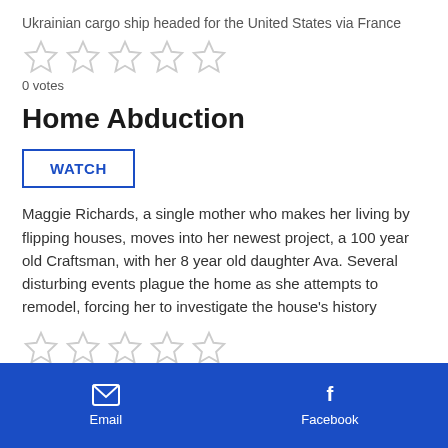Ukrainian cargo ship headed for the United States via France
[Figure (other): 5 empty star rating icons (0 stars selected)]
0 votes
Home Abduction
WATCH
Maggie Richards, a single mother who makes her living by flipping houses, moves into her newest project, a 100 year old Craftsman, with her 8 year old daughter Ava. Several disturbing events plague the home as she attempts to remodel, forcing her to investigate the house's history
[Figure (other): 5 empty star rating icons (0 stars selected)]
0 votes
Email  Facebook